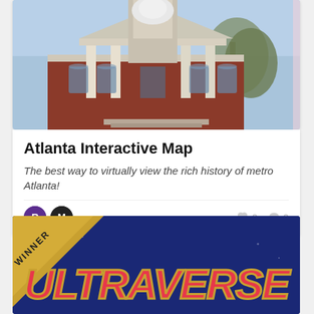[Figure (photo): Photo of a historic red brick courthouse building with a white clock tower dome, columns, and bare trees against a blue sky]
Atlanta Interactive Map
The best way to virtually view the rich history of metro Atlanta!
[Figure (illustration): Dark navy blue card with a diagonal WINNER ribbon badge in gold/yellow at the top left corner, and large stylized red and gold text reading ULTRAVERSE in bold italic font]